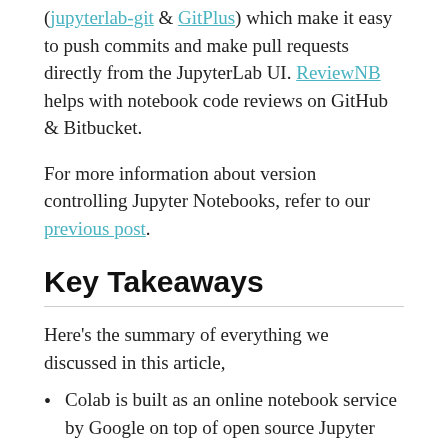(jupyterlab-git & GitPlus) which make it easy to push commits and make pull requests directly from the JupyterLab UI. ReviewNB helps with notebook code reviews on GitHub & Bitbucket.
For more information about version controlling Jupyter Notebooks, refer to our previous post.
Key Takeaways
Here's the summary of everything we discussed in this article,
Colab is built as an online notebook service by Google on top of open source Jupyter project.
There's no resource guarantee in Colab even